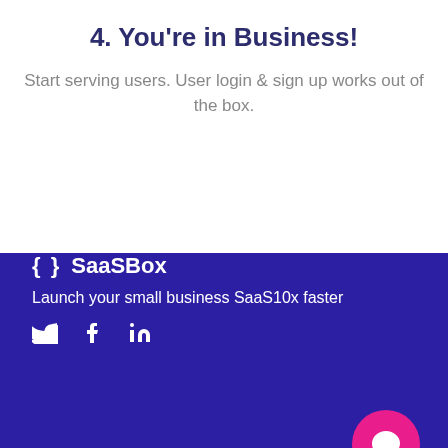4. You're in Business!
Start serving users. User login & sign up works out of the box.
{ }  SaaSBox
Launch your small business SaaS10x faster
Get Started    Features